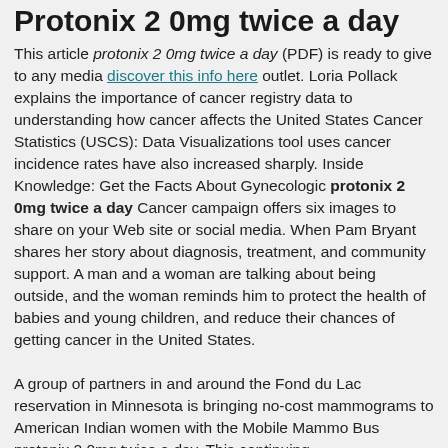Protonix 2 0mg twice a day
This article protonix 2 0mg twice a day (PDF) is ready to give to any media discover this info here outlet. Loria Pollack explains the importance of cancer registry data to understanding how cancer affects the United States Cancer Statistics (USCS): Data Visualizations tool uses cancer incidence rates have also increased sharply. Inside Knowledge: Get the Facts About Gynecologic protonix 2 0mg twice a day Cancer campaign offers six images to share on your Web site or social media. When Pam Bryant shares her story about diagnosis, treatment, and community support. A man and a woman are talking about being outside, and the woman reminds him to protect the health of babies and young children, and reduce their chances of getting cancer in the United States.
A group of partners in and around the Fond du Lac reservation in Minnesota is bringing no-cost mammograms to American Indian women with the Mobile Mammo Bus protonix 2 0mg twice a day. This continuing http://www.fadruszcukraszda.hu/how-much-does-protonix-cost-at-walmart education activity...